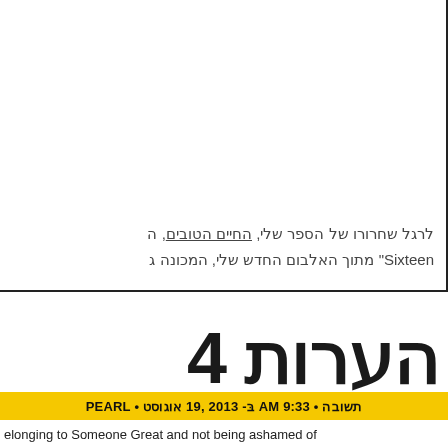לרגל שחרורו של הספר שלי, החיים הטובים, ה... מתוך האלבום החדש שלי, המכונה ג... ",Sixteen
הערות 4
PEARL • אוגוסט 19, 2013 ב- AM 9:33 • תשובה
elonging to Someone Great and not being ashamed of